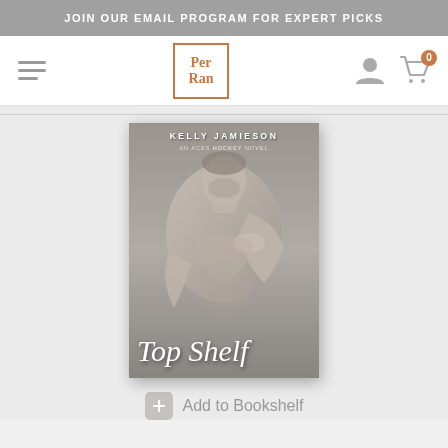JOIN OUR EMAIL PROGRAM FOR EXPERT PICKS
[Figure (logo): Per Ran logo in orange border box, navigation bar with hamburger menu, person icon, and cart icon with 0 badge]
[Figure (photo): Book cover: Top Shelf by Kelly Jamieson, an Aces Hockey novel. Shows a shirtless athletic man in black and white/sepia tones with the title Top Shelf in large serif italic text at the bottom.]
Add to Bookshelf